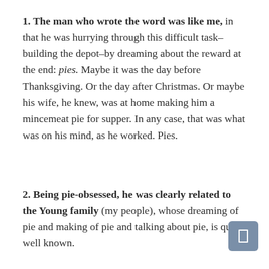1. The man who wrote the word was like me, in that he was hurrying through this difficult task–building the depot–by dreaming about the reward at the end: pies. Maybe it was the day before Thanksgiving. Or the day after Christmas. Or maybe his wife, he knew, was at home making him a mincemeat pie for supper. In any case, that was what was on his mind, as he worked. Pies.
2. Being pie-obsessed, he was clearly related to the Young family (my people), whose dreaming of pie and making of pie and talking about pie, is quite well known.